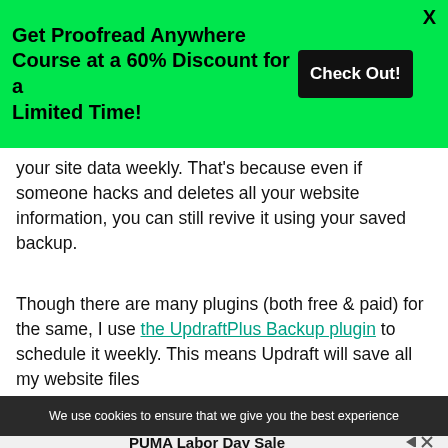[Figure (other): Green promotional banner ad: 'Get Proofread Anywhere Course at a 60% Discount for a Limited Time!' with a black 'Check Out!' button and X close button]
your site data weekly. That's because even if someone hacks and deletes all your website information, you can still revive it using your saved backup.
Though there are many plugins (both free & paid) for the same, I use the UpdraftPlus Backup plugin to schedule it weekly. This means Updraft will save all my website files
We use cookies to ensure that we give you the best experience
[Figure (other): Advertisement banner: PUMA Labor Day Sale with adchoices icons and a dark green 'Shop Now' button, with 'Ad' label]